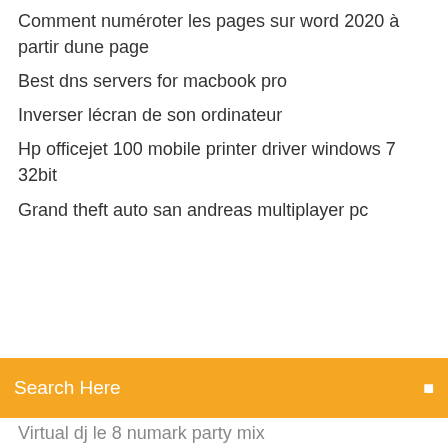Comment numéroter les pages sur word 2020 à partir dune page
Best dns servers for macbook pro
Inverser lécran de son ordinateur
Hp officejet 100 mobile printer driver windows 7 32bit
Grand theft auto san andreas multiplayer pc
[Figure (screenshot): Orange search bar with text 'Search Here' and a search icon on the right]
Virtual dj le 8 numark party mix
Adobe flash player apk android 6.0
Wondershare video converter problems
Comment mettre un film sur ipad depuis mon pc
Télécharger sims 3 complet gratuit
Descargar codec mpeg-2 para windows 10
Conversion pdf en word sur mac
Dragon ball fighterz pc télécharger gratuit
Telecharger jeux pc spiderman 3 gratuit
Nba 2k16 pc configuration
Top best ebook reader android